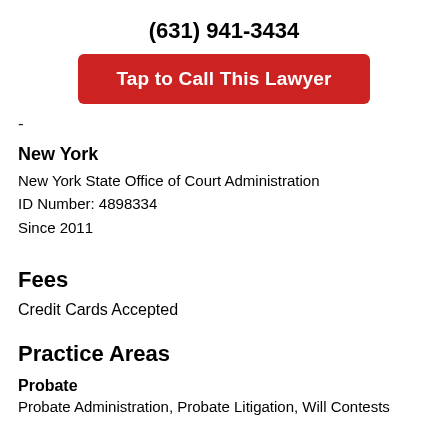(631) 941-3434
[Figure (other): Red call-to-action button labeled 'Tap to Call This Lawyer']
-
New York
New York State Office of Court Administration
ID Number: 4898334
Since 2011
Fees
Credit Cards Accepted
Practice Areas
Probate
Probate Administration, Probate Litigation, Will Contests